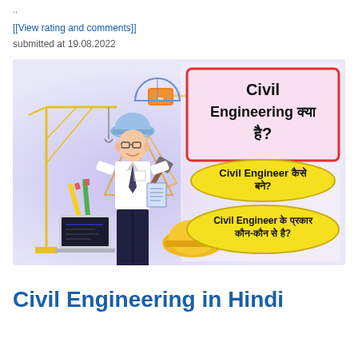..
[[View rating and comments]]
submitted at 19.08.2022
[Figure (illustration): Civil Engineering infographic in Hindi showing a civil engineer cartoon with tools (crane, ruler, tape measure, pencil, hammer, hard hat, laptop). Right side has a pink box with red border saying 'Civil Engineering क्या है?' and two yellow oval buttons: 'Civil Engineer कैसे बने?' and 'Civil Engineer के प्रकार कौन-कौन से है?']
Civil Engineering in Hindi